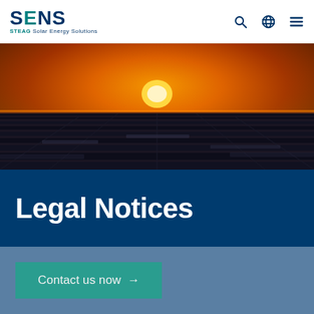SENS STEAG Solar Energy Solutions
[Figure (photo): Aerial photo of large solar panel array at sunset with orange sky]
Legal Notices
Contact us now →
Our Website uses different